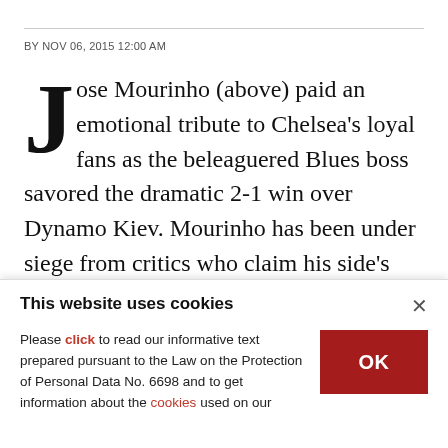BY NOV 06, 2015 12:00 AM
Jose Mourinho (above) paid an emotional tribute to Chelsea's loyal fans as the beleaguered Blues boss savored the dramatic 2-1 win over Dynamo Kiev. Mourinho has been under siege from critics who claim his side's woeful run has left him on the verge of the sack.
And with Chelsea's defense of the Premier League
This website uses cookies
Please click to read our informative text prepared pursuant to the Law on the Protection of Personal Data No. 6698 and to get information about the cookies used on our